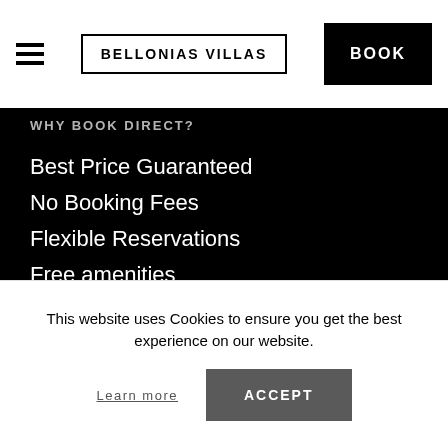BELLONIAS VILLAS | BOOK
WHY BOOK DIRECT?
Best Price Guaranteed
No Booking Fees
Flexible Reservations
Free amenities
Exclusive extra benefits
24/7 Personalised Service
No hidden costs
OTHER HOTELS
This website uses Cookies to ensure you get the best experience on our website.
Learn more
ACCEPT